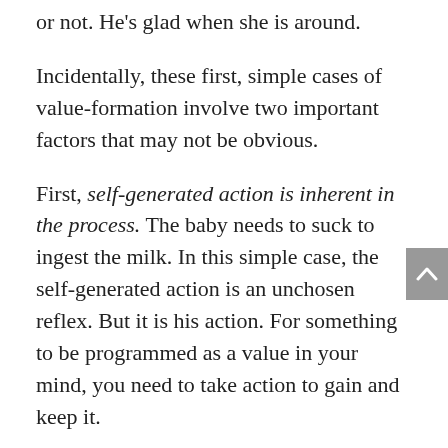or not. He's glad when she is around.
Incidentally, these first, simple cases of value-formation involve two important factors that may not be obvious.
First, self-generated action is inherent in the process. The baby needs to suck to ingest the milk. In this simple case, the self-generated action is an unchosen reflex. But it is his action. For something to be programmed as a value in your mind, you need to take action to gain and keep it.
Second, values form in a structure. There is no such thing as an isolated value. One's first